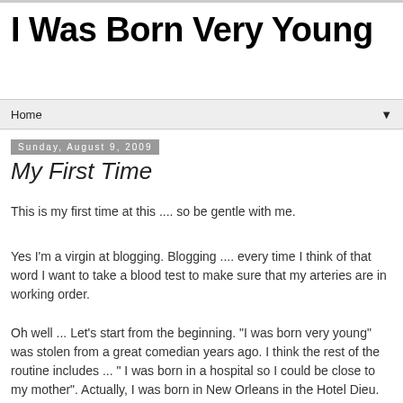I Was Born Very Young
Home ▼
Sunday, August 9, 2009
My First Time
This is my first time at this .... so be gentle with me.
Yes I'm a virgin at blogging. Blogging .... every time I think of that word I want to take a blood test to make sure that my arteries are in working order.
Oh well ... Let's start from the beginning. "I was born very young" was stolen from a great comedian years ago. I think the rest of the routine includes ... " I was born in a hospital so I could be close to my mother". Actually, I was born in New Orleans in the Hotel Dieu. That was a hospital, by the way. It was one of the things that my parents assured me of when